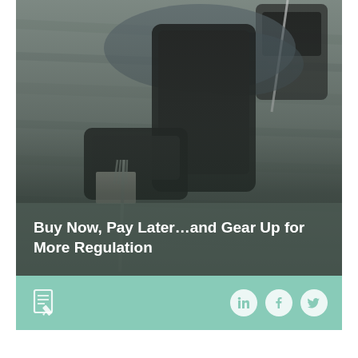[Figure (photo): Photo of a hand holding a smartphone near a payment terminal at a restaurant table, with a fork and receipt visible. The lower portion has a dark semi-transparent overlay.]
Buy Now, Pay Later…and Gear Up for More Regulation
[Figure (other): Teal/mint footer bar containing a document icon on the left and three social media circular icons (LinkedIn, Facebook, Twitter) on the right.]